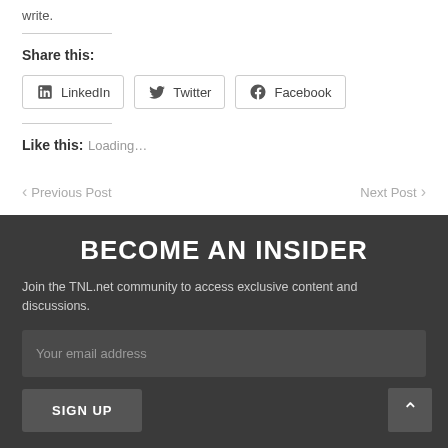write.
Share this:
LinkedIn  Twitter  Facebook
Like this:
Loading…
< Previous Post   Next Post >
BECOME AN INSIDER
Join the TNL.net community to access exclusive content and discussions.
Your email address
SIGN UP